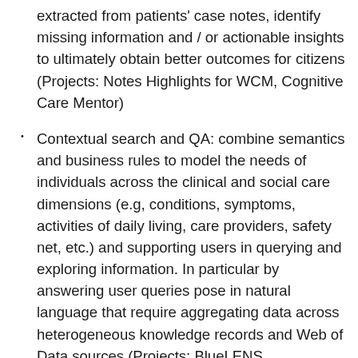extracted from patients' case notes, identify missing information and / or actionable insights to ultimately obtain better outcomes for citizens (Projects: Notes Highlights for WCM, Cognitive Care Mentor)
Contextual search and QA: combine semantics and business rules to model the needs of individuals across the clinical and social care dimensions (e.g, conditions, symptoms, activities of daily living, care providers, safety net, etc.) and supporting users in querying and exploring information. In particular by answering user queries pose in natural language that require aggregating data across heterogeneous knowledge records and Web of Data sources (Projects: BlueLENS, QuerioDALI, Link2Outcome)
Urban data management: a platform for harnessing